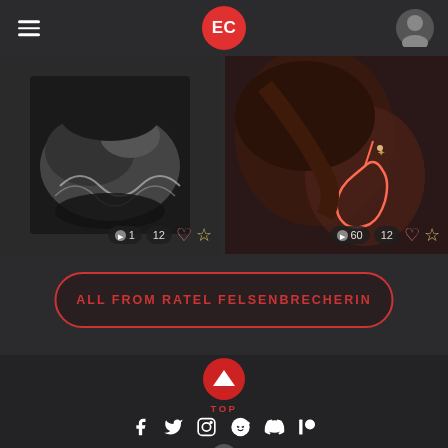[Figure (screenshot): Website header with hamburger menu, EC red circle logo, and user profile icon on dark background]
[Figure (photo): Left image card: black and white close-up photo of lacy glove/bracelet, with badge showing '1' views, '12' comments, heart and star icons]
[Figure (photo): Right image card: dark close-up photo with neon cowboy boot outline, with badge showing '60' views, '12' comments, heart and star icons]
ALL FROM RATEL FELSENBRECHERIN
[Figure (screenshot): TOP button with red chevron-up circle icon and red TOP label]
[Figure (screenshot): Social media icons row: Facebook, Twitter, Instagram, Reddit, Discord, Patreon, and an additional icon below]